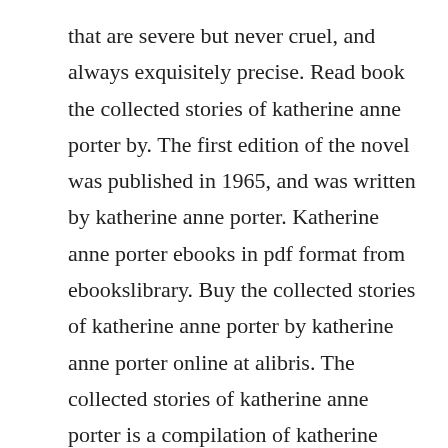that are severe but never cruel, and always exquisitely precise. Read book the collected stories of katherine anne porter by. The first edition of the novel was published in 1965, and was written by katherine anne porter. Katherine anne porter ebooks in pdf format from ebookslibrary. Buy the collected stories of katherine anne porter by katherine anne porter online at alibris. The collected stories of katherine anne porter is a compilation of katherine anne porter s finest short stories and short novels.